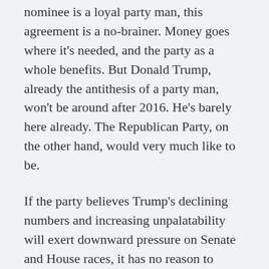nominee is a loyal party man, this agreement is a no-brainer. Money goes where it's needed, and the party as a whole benefits. But Donald Trump, already the antithesis of a party man, won't be around after 2016. He's barely here already. The Republican Party, on the other hand, would very much like to be.
If the party believes Trump's declining numbers and increasing unpalatability will exert downward pressure on Senate and House races, it has no reason to maintain this agreement. Already, the Trump campaign's disinclination to hire more organizers on the state level – Clinton has a 5-to-1 ground game advantage– forces the party to share financial and human resources. He's already hamstrung the party on an organizational level; further alienating voters only jeopardizes the House and Senate majorities, insult upon existing injury.